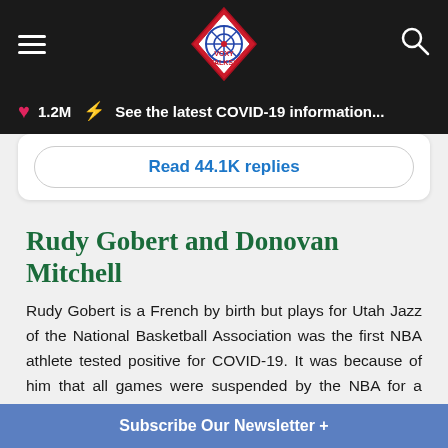VoxyTalksy — navigation bar with hamburger menu, logo, and search icon
1.2M  ⚡  See the latest COVID-19 information...
Read 44.1K replies
Rudy Gobert and Donovan Mitchell
Rudy Gobert is a French by birth but plays for Utah Jazz of the National Basketball Association was the first NBA athlete tested positive for COVID-19. It was because of him that all games were suspended by the NBA for a minimum of one month. He apologized for his carelessness after he was tested positive, but he donated more than $500,000 for the cause. His teammate Donovan Mitchell was also tested positive for the virus, however like Idris has no signs of illness.
Subscribe Our Newsletter +